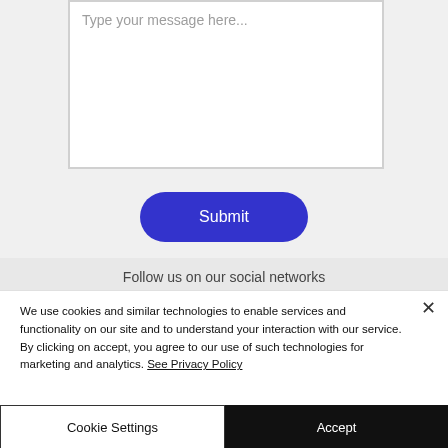[Figure (screenshot): A web form textarea with placeholder text 'Type your message here...' and a blue rounded Submit button below it, followed by a 'Follow us on our social networks' footer bar.]
We use cookies and similar technologies to enable services and functionality on our site and to understand your interaction with our service. By clicking on accept, you agree to our use of such technologies for marketing and analytics. See Privacy Policy
Cookie Settings
Accept